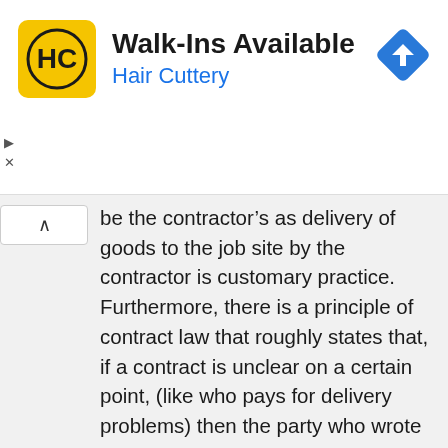[Figure (logo): Hair Cuttery advertisement banner with HC logo, 'Walk-Ins Available' text, 'Hair Cuttery' subtitle in blue, and a blue navigation direction icon]
be the contractor's as delivery of goods to the job site by the contractor is customary practice. Furthermore, there is a principle of contract law that roughly states that, if a contract is unclear on a certain point, (like who pays for delivery problems) then the party who wrote the contract is generally responsible for the associated cost.
It seems to me that a log home builder, or any rural builder, should be used to rural building sites with poor quality roads and similar access problems. Also the builder should be familiar with the type of equipment